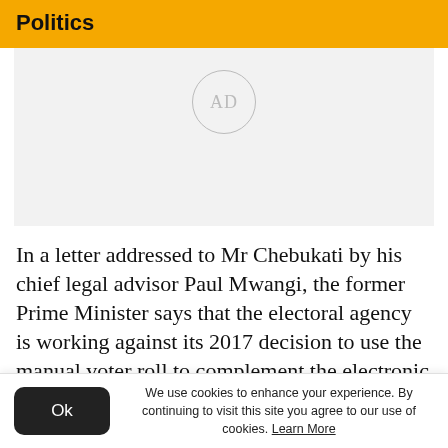Politics
[Figure (other): Advertisement placeholder box with 'AD' text in a circle]
In a letter addressed to Mr Chebukati by his chief legal advisor Paul Mwangi, the former Prime Minister says that the electoral agency is working against its 2017 decision to use the manual voter roll to complement the electronic
We use cookies to enhance your experience. By continuing to visit this site you agree to our use of cookies. Learn More